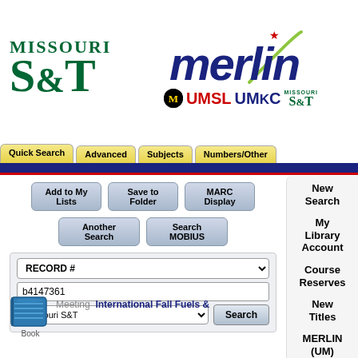[Figure (logo): Missouri S&T university logo (green serif text)]
[Figure (logo): MERLIN library catalog logo with UMSL, UMKC, Missouri S&T sub-logos]
Quick Search | Advanced | Subjects | Numbers/Other
[Figure (screenshot): Library catalog search interface with Add to My Lists, Save to Folder, MARC Display, Another Search, Search MOBIUS buttons, RECORD # dropdown, b4147361 input, Missouri S&T library selector, Search button]
New Search
My Library Account
Course Reserves
New Titles
MERLIN (UM) Libraries
[Figure (illustration): Book icon]
Book
Meeting  International Fall Fuels &